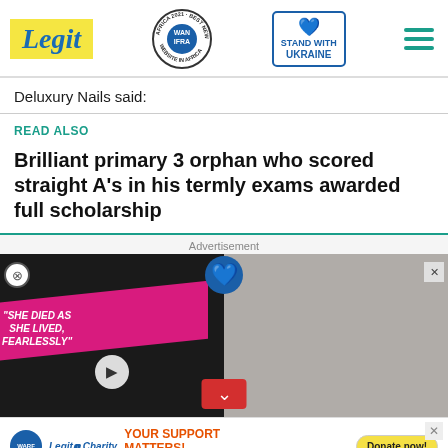Legit | WAN IFRA 2021 Best News Website in Africa | Stand with Ukraine
Deluxury Nails said:
READ ALSO
Brilliant primary 3 orphan who scored straight A's in his termly exams awarded full scholarship
[Figure (screenshot): Advertisement panel showing a video thumbnail with 'SHE DIED AS SHE LIVED, FEARLESSLY' text on pink background over dark image of couple, and right side shows a girl with a lion cub. Red down-arrow button at bottom center.]
[Figure (infographic): Legit Charity banner: YOUR SUPPORT MATTERS! SAVE THE LIFE OF GIRL AT RISK, with WARF and Legit Charity logos and a Donate now! button]